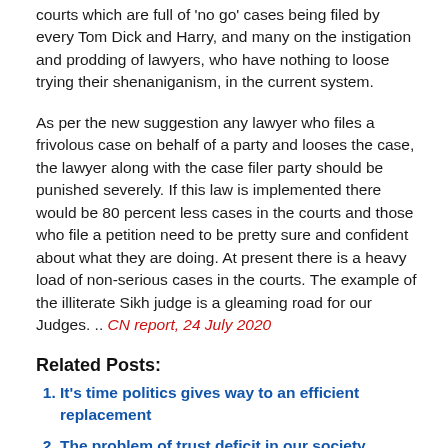courts which are full of 'no go' cases being filed by every Tom Dick and Harry, and many on the instigation and prodding of lawyers, who have nothing to loose trying their shenaniganism, in the current system.
As per the new suggestion any lawyer who files a frivolous case on behalf of a party and looses the case, the lawyer along with the case filer party should be punished severely. If this law is implemented there would be 80 percent less cases in the courts and those who file a petition need to be pretty sure and confident about what they are doing. At present there is a heavy load of non-serious cases in the courts. The example of the illiterate Sikh judge is a gleaming road for our Judges. .. CN report, 24 July 2020
Related Posts:
It's time politics gives way to an efficient replacement
The problem of trust deficit in our society
Whom can we call corrupt?